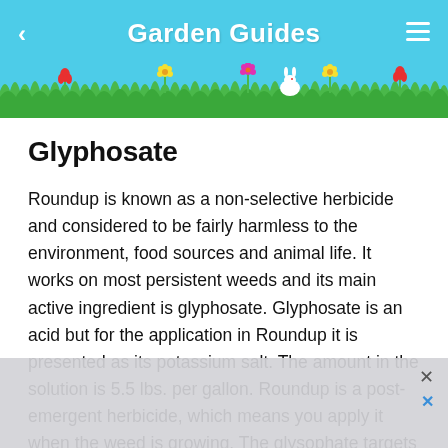Garden Guides
Glyphosate
Roundup is known as a non-selective herbicide and considered to be fairly harmless to the environment, food sources and animal life. It works on most persistent weeds and its main active ingredient is glyphosate. Glyphosate is an acid but for the application in Roundup it is presented as its potassium salt. The amount in the solution is 5.5 lbs. per gallon. Roundup is a post-emergent herbicide, which means you apply it when the weed is growing. The glysophate targets the EPSP synthase, a key enzyme plants need